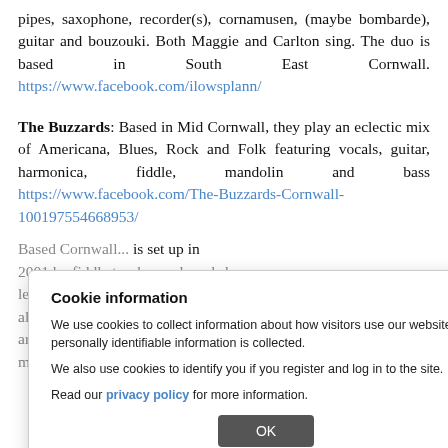pipes, saxophone, recorder(s), cornamusen, (maybe bombarde), guitar and bouzouki. Both Maggie and Carlton sing. The duo is based in South East Cornwall. https://www.facebook.com/ilowsplann/
The Buzzards: Based in Mid Cornwall, they play an eclectic mix of Americana, Blues, Rock and Folk featuring vocals, guitar, harmonica, fiddle, mandolin and bass https://www.facebook.com/The-Buzzards-Cornwall-100197554668953/
Based Cornwall... is set up in 2001 by fiddle teacher and workshop leader Frances Bennett who wanted her students of all ages and abilities to be able to get together to arrange and perform Cornish Celtic music. https://www...ook.com/groups/5118086961
[Figure (screenshot): Cookie information modal dialog overlay. Title: 'Cookie information'. Body text: 'We use cookies to collect information about how visitors use our website. No personally identifiable information is collected.' and 'We also use cookies to identify you if you register and log in to the site.' and 'Read our privacy policy for more information.' with an OK button.]